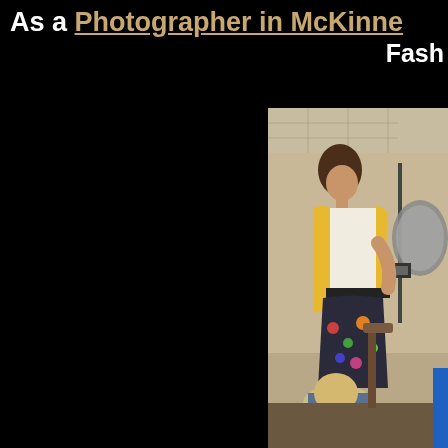As a Photographer in McKinne... Fash...
[Figure (photo): Fashion photography session showing a woman in a yellow cardigan over white top with floral skirt, standing in a studio with photography lighting equipment including an umbrella light, another person seated in foreground]